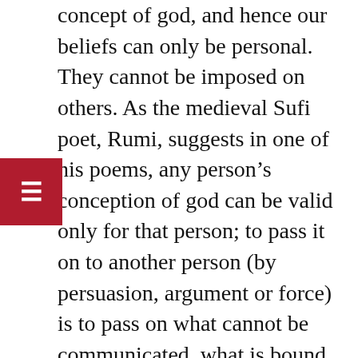concept of god, and hence our beliefs can only be personal. They cannot be imposed on others. As the medieval Sufi poet, Rumi, suggests in one of his poems, any person's conception of god can be valid only for that person; to pass it on to another person (by persuasion, argument or force) is to pass on what cannot be communicated, what is bound to be reduced in language. Many major religious thinkers have seen this too: the Muslim Avicenna or Ibn Sina (11th century) and the Christian Thomas Aquinas (13th century), among others.
The opposition to images of divinity that we find in iconoclastic religions, most obdurately Islam, is a consequence of this realisation. The divine,